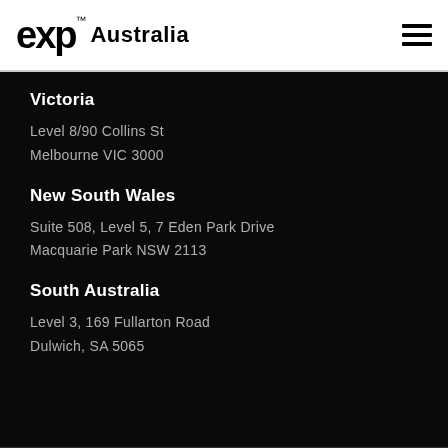eXp™ Australia
Victoria
Level 8/90 Collins St
Melbourne VIC 3000
New South Wales
Suite 508, Level 5, 7 Eden Park Drive
Macquarie Park NSW 2113
South Australia
Level 3, 169 Fullarton Road
Dulwich, SA 5065